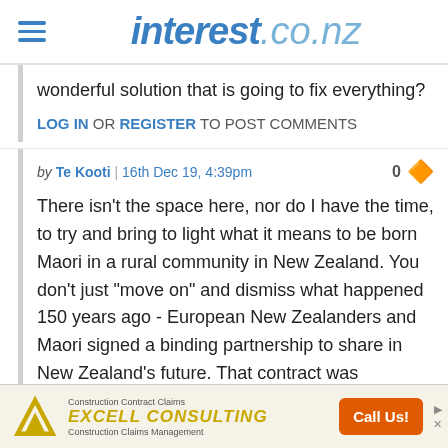interest.co.nz
wonderful solution that is going to fix everything?
LOG IN OR REGISTER TO POST COMMENTS
by Te Kooti | 16th Dec 19, 4:39pm
There isn't the space here, nor do I have the time, to try and bring to light what it means to be born Maori in a rural community in New Zealand. You don't just "move on" and dismiss what happened 150 years ago - European New Zealanders and Maori signed a binding partnership to share in New Zealand's future. That contract was breached relentlessly over the
[Figure (other): Excell Consulting advertisement banner with logo and Call Us button]